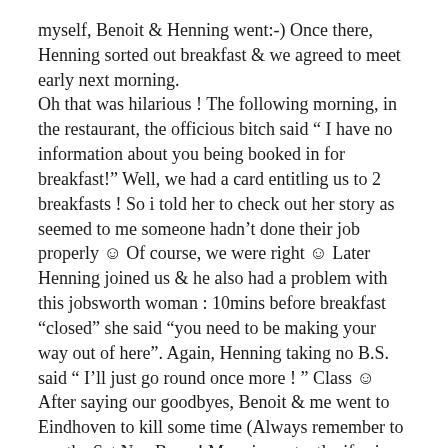myself, Benoit & Henning went:-) Once there, Henning sorted out breakfast & we agreed to meet early next morning. Oh that was hilarious ! The following morning, in the restaurant, the officious bitch said “ I have no information about you being booked in for breakfast!” Well, we had a card entitling us to 2 breakfasts ! So i told her to check out her story as seemed to me someone hadn’t done their job properly ☺ Of course, we were right ☺ Later Henning joined us & he also had a problem with this jobsworth woman : 10mins before breakfast “closed” she said “you need to be making your way out of here”. Again, Henning taking no B.S. said “ I’ll just go round once more ! ” Class ☺ After saying our goodbyes, Benoit & me went to Eindhoven to kill some time (Always remember to use the Sat Nav Beno ! More importantly, if using it, take notice of the directions instead of gassing to me